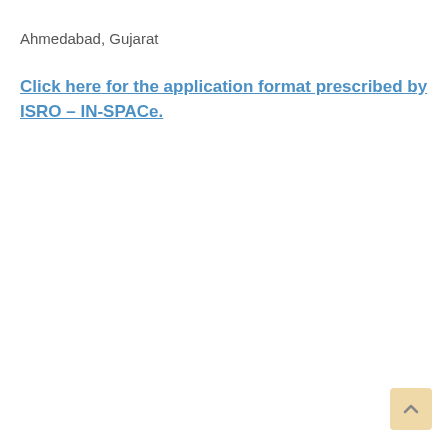Ahmedabad, Gujarat
Click here for the application format prescribed by ISRO – IN-SPACe.